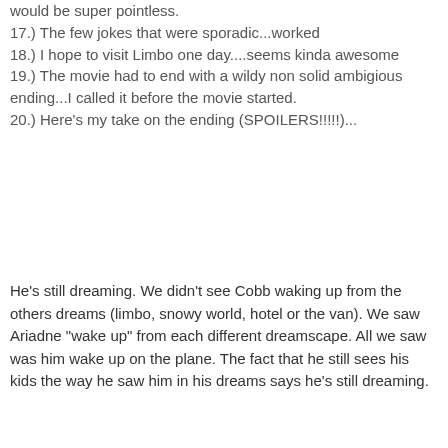would be super pointless.
17.) The few jokes that were sporadic...worked
18.) I hope to visit Limbo one day....seems kinda awesome
19.) The movie had to end with a wildy non solid ambigious ending...I called it before the movie started.
20.) Here's my take on the ending (SPOILERS!!!!!)...............
He's still dreaming. We didn't see Cobb waking up from the others dreams (limbo, snowy world, hotel or the van). We saw Ariadne "wake up" from each different dreamscape. All we saw was him wake up on the plane. The fact that he still sees his kids the way he saw him in his dreams says he's still dreaming.